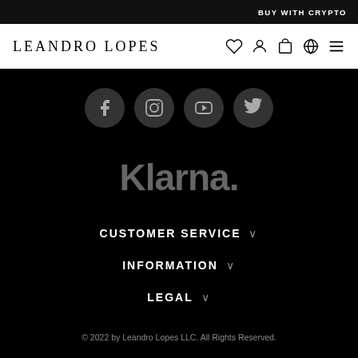BUY WITH CRYPTO
LEANDRO LOPES
[Figure (illustration): Social media icons row: Facebook, Instagram, YouTube, Twitter in dark circular buttons]
[Figure (logo): Klarna. logo in gray on black background]
CUSTOMER SERVICE
INFORMATION
LEGAL
© 2022 by Leandro Lopes LLC. All Rights Reserved.